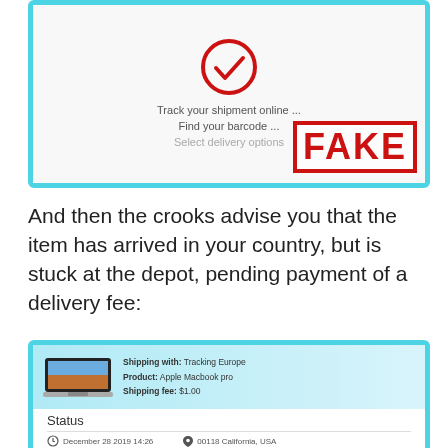[Figure (screenshot): Fake shipment tracking screenshot showing a red checkmark circle, options to track shipment, find barcode, select delivery options, and a FAKE red stamp in the bottom-right corner]
And then the crooks advise you that the item has arrived in your country, but is stuck at the depot, pending payment of a delivery fee:
[Figure (screenshot): Fake shipping confirmation screenshot showing a laptop image, shipping info (Shipping with: Tracking Europe, Product: Apple Macbook pro, Shipping fee: $1.00), Status section with date December 28 2019 14:26 and location 00118 California, USA]